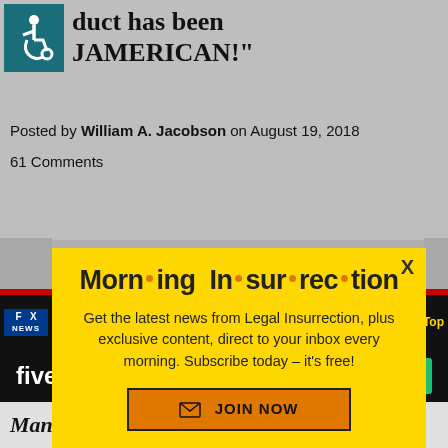duct has been JAMERICAN!"
Posted by William A. Jacobson on August 19, 2018
61 Comments
[Figure (screenshot): Yellow modal popup for Morning Insurrection newsletter subscription with orange JOIN NOW button]
[Figure (screenshot): Fox News ticker showing MANAFORT JURY DELIBERATIONS UNDERWAY with an X close button and Top label]
[Figure (screenshot): Fiverr advertisement banner with Start Now green button]
Manafort jury leaves for